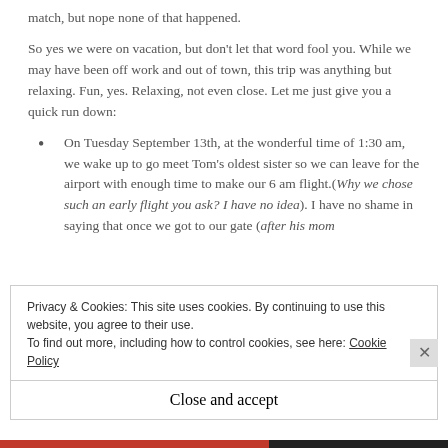match, but nope none of that happened.
So yes we were on vacation, but don't let that word fool you. While we may have been off work and out of town, this trip was anything but relaxing. Fun, yes. Relaxing, not even close. Let me just give you a quick run down:
On Tuesday September 13th, at the wonderful time of 1:30 am, we wake up to go meet Tom's oldest sister so we can leave for the airport with enough time to make our 6 am flight.(Why we chose such an early flight you ask? I have no idea). I have no shame in saying that once we got to our gate (after his mom
Privacy & Cookies: This site uses cookies. By continuing to use this website, you agree to their use.
To find out more, including how to control cookies, see here: Cookie Policy
Close and accept